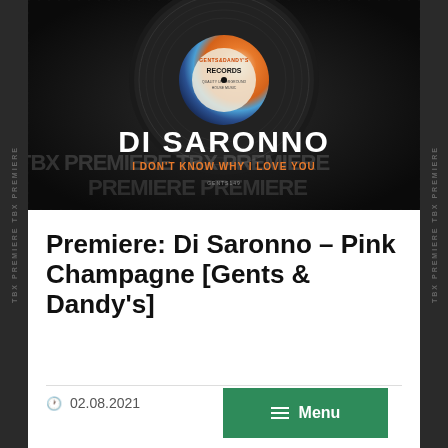[Figure (illustration): Album art for Di Saronno 'I Don't Know Why I Love You' on Gents & Dandy's Records. Shows a vinyl record with colorful label (orange, blue swirls) on dark leather background. Watermark text 'TBX PREMIERE' overlaid multiple times. Artist name 'DI SARONNO' in large white text, track title 'I DON'T KNOW WHY I LOVE YOU' in orange below.]
Premiere: Di Saronno – Pink Champagne [Gents & Dandy's]
02.08.2021